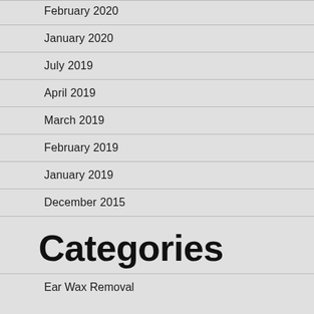February 2020
January 2020
July 2019
April 2019
March 2019
February 2019
January 2019
December 2015
Categories
Ear Wax Removal